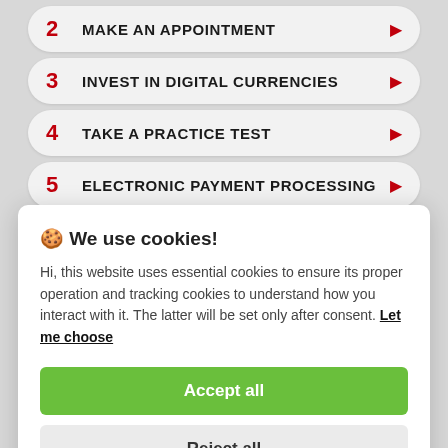2 MAKE AN APPOINTMENT
3 INVEST IN DIGITAL CURRENCIES
4 TAKE A PRACTICE TEST
5 ELECTRONIC PAYMENT PROCESSING
🍪 We use cookies!
Hi, this website uses essential cookies to ensure its proper operation and tracking cookies to understand how you interact with it. The latter will be set only after consent. Let me choose